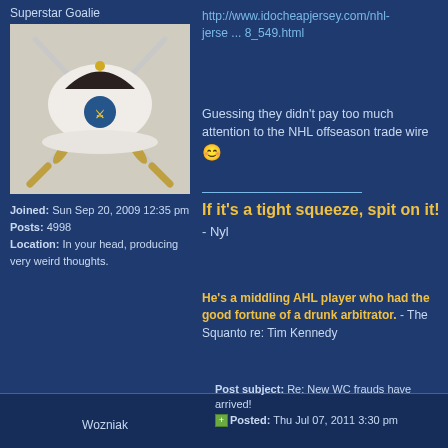Superstar Goalie
[Figure (photo): Two crossed swords/sabers over a white cap with a buffalo logo]
Joined: Sun Sep 20, 2009 12:35 pm
Posts: 4998
Location: In your head, producing very weird thoughts.
http://www.idocheapjersey.com/nhl-jerse ... 8_549.html
Guessing they didn't pay too much attention to the NHL offseason trade wire 😊
If it's a tight squeeze, spit on it! - Nyl
He's a middling AHL player who had the good fortune of a drunk arbitrator. - The Squanto re: Tim Kennedy
Top
PROFILE
Wozniak
Post subject: Re: New WC frauds have arrived!
Posted: Thu Jul 07, 2011 3:30 pm